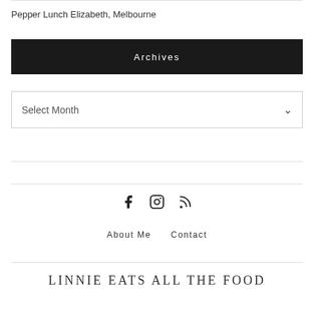Pepper Lunch Elizabeth, Melbourne
Archives
Select Month
[Figure (other): Social media icons: Facebook, Instagram, RSS feed]
About Me
Contact
LINNIE EATS ALL THE FOOD